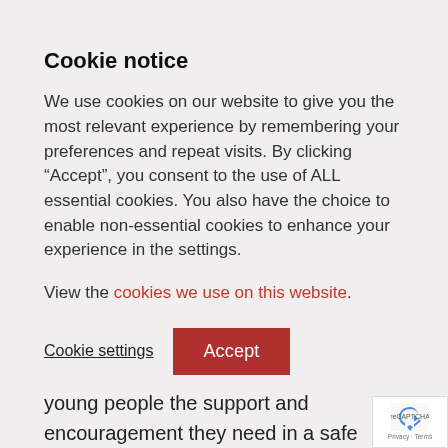Cookie notice
We use cookies on our website to give you the most relevant experience by remembering your preferences and repeat visits. By clicking “Accept”, you consent to the use of ALL essential cookies. You also have the choice to enable non-essential cookies to enhance your experience in the settings.
View the cookies we use on this website.
Cookie settings  Accept
young people the support and encouragement they need in a safe